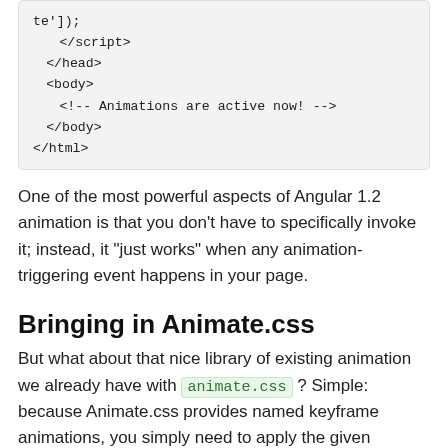[Figure (screenshot): Code block showing HTML snippet with closing script, head, body tags and an HTML comment]
One of the most powerful aspects of Angular 1.2 animation is that you don't have to specifically invoke it; instead, it "just works" when any animation-triggering event happens in your page.
Bringing in Animate.css
But what about that nice library of existing animation we already have with animate.css ? Simple: because Animate.css provides named keyframe animations, you simply need to apply the given animation to the element